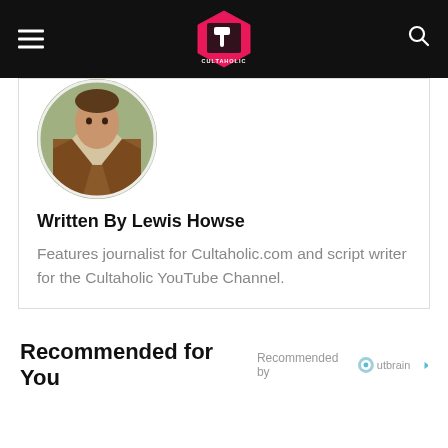Cultaholic
[Figure (photo): Circular profile photo of Lewis Howse wearing a brown sheepskin jacket outdoors]
Written By Lewis Howse
Features journalist for Cultaholic.com and script writer for the Cultaholic YouTube Channel.
Recommended for You
Recommended by Outbrain